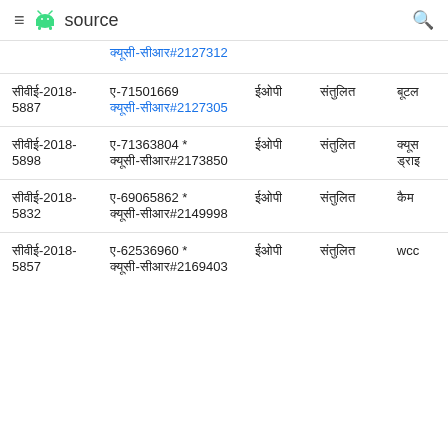≡ 🤖 source 🔍
|  | क्यूसी-सीआर#2127312 |  |  |  |
| --- | --- | --- | --- | --- |
| सीवीई-2018-5887 | ए-71501669 क्यूसी-सीआर#2127305 | ईओपी | संतुलित | बूटल |
| सीवीई-2018-5898 | ए-71363804 * क्यूसी-सीआर#2173850 | ईओपी | संतुलित | क्यूस ड्राइ |
| सीवीई-2018-5832 | ए-69065862 * क्यूसी-सीआर#2149998 | ईओपी | संतुलित | कैम |
| सीवीई-2018-5857 | ए-62536960 * क्यूसी-सीआर#2169403 | ईओपी | संतुलित | wcc |